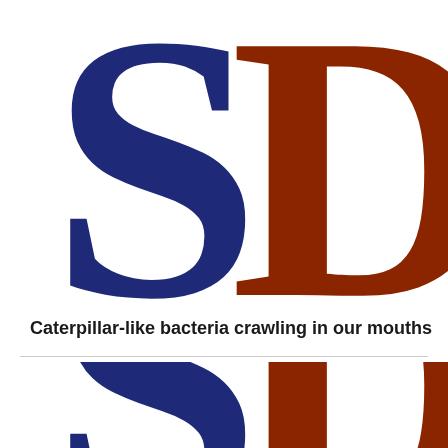[Figure (logo): Large logo with 'S' in dark navy blue on the left and 'D' in dark brown/rust on the right, partially cropped at top]
Caterpillar-like bacteria crawling in our mouths
[Figure (logo): Same logo repeated below the divider line, 'S' in dark navy blue and 'D' in dark brown/rust, partially cropped at bottom]